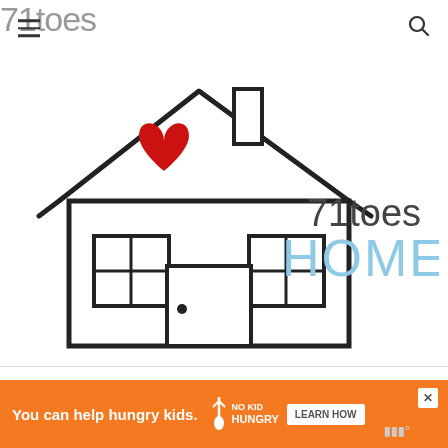71toes
[Figure (logo): 71toes HOME logo: line drawing of a house with a red heart on the upper left portion and the text '71toes' in dark gray and 'HOME' in light blue to the right]
[Figure (infographic): Advertisement banner: orange background with text 'You can help hungry kids.' with No Kid Hungry logo and 'LEARN HOW' button]